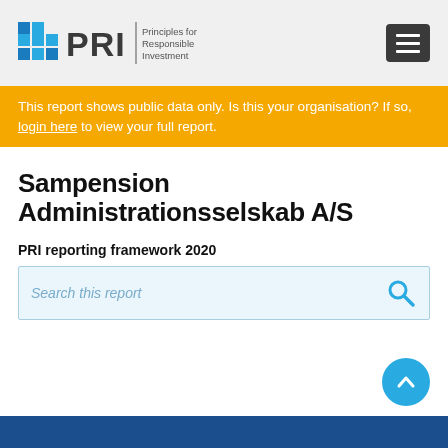[Figure (logo): PRI – Principles for Responsible Investment logo with blue grid squares and text]
This report shows public data only. Is this your organisation? If so, login here to view your full report.
Sampension Administrationsselskab A/S
PRI reporting framework 2020
Search this report